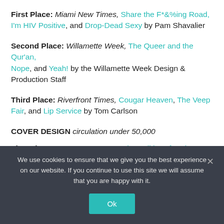First Place: Miami New Times, Share the F*&%ing Road, I'm HIV Positive, and Drop-Dead Sexy by Pam Shavalier
Second Place: Willamette Week, The Queer and the Qur'an, Nope, and Yeah! by the Willamette Week Design & Production Staff
Third Place: Riverfront Times, Cougar Heaven, The Veep Fair, and Lip Service by Tom Carlson
COVER DESIGN circulation under 50,000
First Place: Santa Fe Reporter, The Politics of Eating, Down [and Dirty and Not-by-Accident M…]
We use cookies to ensure that we give you the best experience on our website. If you continue to use this site we will assume that you are happy with it.